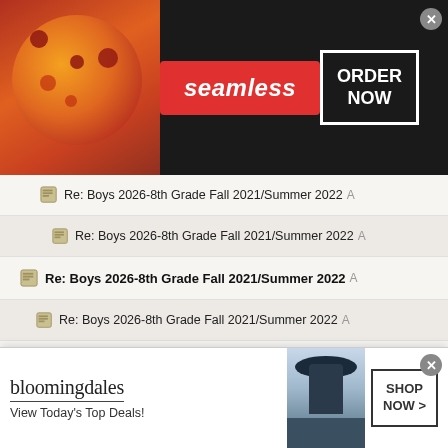[Figure (screenshot): Seamless food delivery advertisement banner with pizza image, red Seamless logo badge, and ORDER NOW button]
Re: Boys 2026-8th Grade Fall 2021/Summer 2022
Re: Boys 2026-8th Grade Fall 2021/Summer 2022
Re: Boys 2026-8th Grade Fall 2021/Summer 2022
Re: Boys 2026-8th Grade Fall 2021/Summer 2022
Re: Boys 2026-8th Grade Fall 2021/Summer 2022
Re: Boys 2026-8th Grade Fall 2021/Summer 2022
Re: Boys 2026-8th Grade Fall 2021/Summer 2022
Re: Boys 2026-8th Grade Fall 2021/Summer 2022
Re: Boys 2026-8th Grade Fall 2021/Summer 2022
Re: Boys 2026-8th Grade Fall 2021/Summer 2022
[Figure (screenshot): Bloomingdale's advertisement banner with logo, View Today's Top Deals tagline, model in hat, and SHOP NOW button]